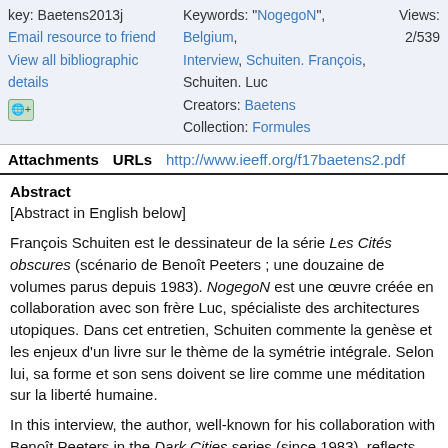key: Baetens2013j
Email resource to friend
View all bibliographic details
[icon]
Keywords: "NogegoN", Belgium, Interview, Schuiten. François, Schuiten. Luc
Creators: Baetens
Collection: Formules
Views: 2/539
Attachments  URLs  http://www.ieeff.org/f17baetens2.pdf
Abstract
[Abstract in English below]

François Schuiten est le dessinateur de la série Les Cités obscures (scénario de Benoît Peeters ; une douzaine de volumes parus depuis 1983). NogegoN est une œuvre créée en collaboration avec son frère Luc, spécialiste des architectures utopiques. Dans cet entretien, Schuiten commente la genèse et les enjeux d'un livre sur le thème de la symétrie intégrale. Selon lui, sa forme et son sens doivent se lire comme une méditation sur la liberté humaine.

In this interview, the author, well-known for his collaboration with Benoît Peeters in the Dark Cities series (since 1983), reflects upon the genesis and stakes of NogegoN, a visual